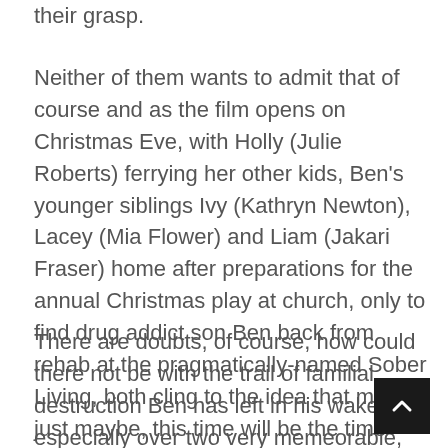their grasp.
Neither of them wants to admit that of course and as the film opens on Christmas Eve, with Holly (Julie Roberts) ferrying her other kids, Ben's younger siblings Ivy (Kathryn Newton), Lacey (Mia Flower) and Liam (Jakari Fraser) home after preparations for the annual Christmas play at church, only to find drug addict son Ben back from rehab at the pragmatically-named Sober Living, both cling to the idea that maybe, just maybe, this time will be the time when all the pieces finally fit back together.
There are doubts, of course, how could there not be with the trail of familial destruction Ben has left in his wake, especially over two very memeorable, for all the wrong reasons, Christmasses, but both Holly and Ben